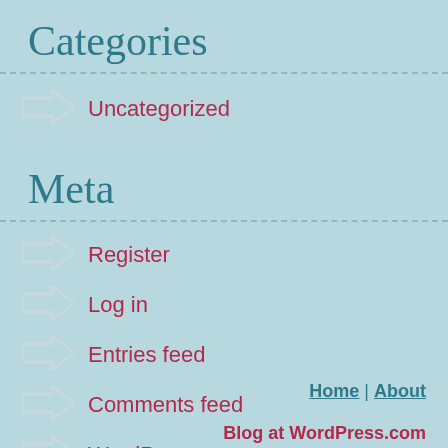Categories
Uncategorized
Meta
Register
Log in
Entries feed
Comments feed
WordPress.com
Home | About
Blog at WordPress.com